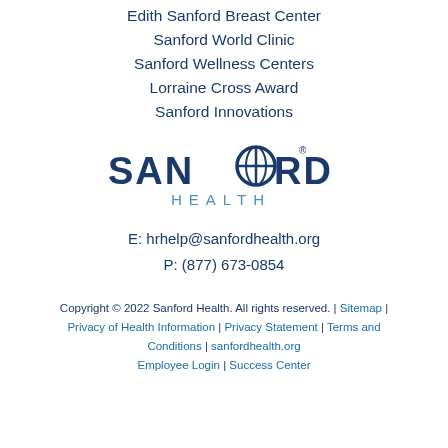Edith Sanford Breast Center
Sanford World Clinic
Sanford Wellness Centers
Lorraine Cross Award
Sanford Innovations
[Figure (logo): Sanford Health logo with globe icon in dark navy and light blue text]
E: hrhelp@sanfordhealth.org
P: (877) 673-0854
Copyright © 2022 Sanford Health. All rights reserved. | Sitemap | Privacy of Health Information | Privacy Statement | Terms and Conditions | sanfordhealth.org
Employee Login | Success Center